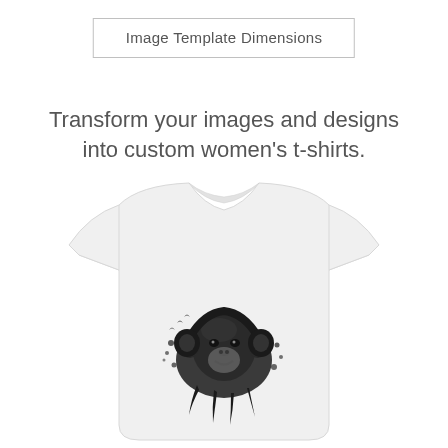Image Template Dimensions
Transform your images and designs into custom women's t-shirts.
[Figure (photo): A white women's fitted t-shirt with a black ink-splash graphic of a chimpanzee wearing headphones, printed on the front center of the shirt.]